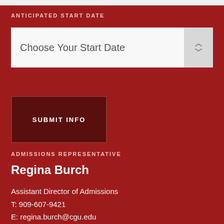ANTICIPATED START DATE
Choose Your Start Date
SUBMIT INFO
ADMISSIONS REPRESENTATIVE
Regina Burch
Assistant Director of Admissions
T: 909-607-9421
E: regina.burch@cgu.edu